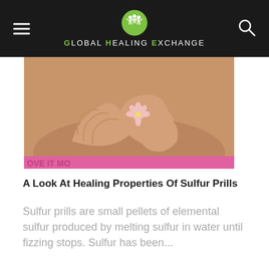Global Healing Exchange
[Figure (photo): Hands forming a heart shape on a person's bare back with a small pink daisy flower placed in the center]
A Look At Healing Properties Of Sulfur Prills
Sulfur prills are small pellets of elemental sulfur produced by melting sulfur in water until fizzing stops. Sulfur has been...
[Figure (photo): Person with long hair standing among green trees, partially visible at bottom of page]